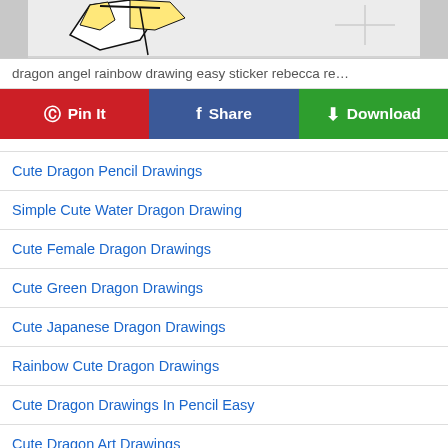[Figure (illustration): Partial view of a cute dragon drawing with colorful wings on a light gray background with crosshair markers]
dragon angel rainbow drawing easy sticker rebecca re…
Pin It | Share | Download
Cute Dragon Pencil Drawings
Simple Cute Water Dragon Drawing
Cute Female Dragon Drawings
Cute Green Dragon Drawings
Cute Japanese Dragon Drawings
Rainbow Cute Dragon Drawings
Cute Dragon Drawings In Pencil Easy
Cute Dragon Art Drawings
Cute Unicorn Dragon Drawing